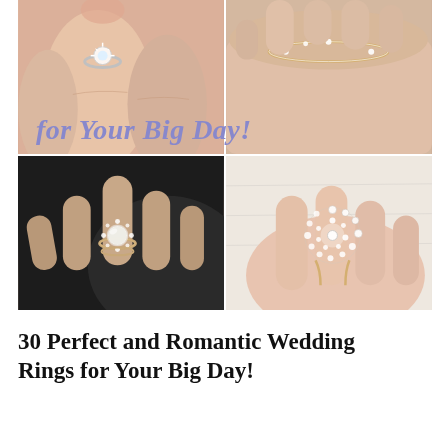[Figure (photo): A 2x2 collage of four photos showing wedding rings on hands. Top-left: a diamond solitaire ring on a hand with pink skin tone. Top-right: a delicate diamond bangle/bracelet on a hand. Bottom-left: a pearl and diamond halo ring on a hand against dark background. Bottom-right: a swirling spiral diamond ring on a hand with white fabric background. Overlaid text in purple reads 'for Your Big Day!']
30 Perfect and Romantic Wedding Rings for Your Big Day!